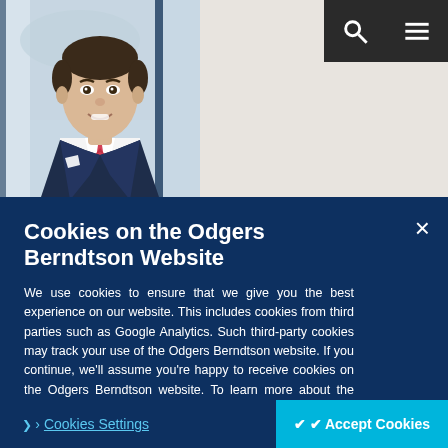[Figure (photo): Professional headshot of a man in a dark suit with a red/pink tie, smiling, with a blurred office background. The image is cropped to show head and upper torso.]
Cookies on the Odgers Berndtson Website
We use cookies to ensure that we give you the best experience on our website. This includes cookies from third parties such as Google Analytics. Such third-party cookies may track your use of the Odgers Berndtson website. If you continue, we'll assume you're happy to receive cookies on the Odgers Berndtson website. To learn more about the use of cookies on our website or to opt out from them, please visit our Privacy Policy.
❯ Cookies Settings
✔ Accept Cookies